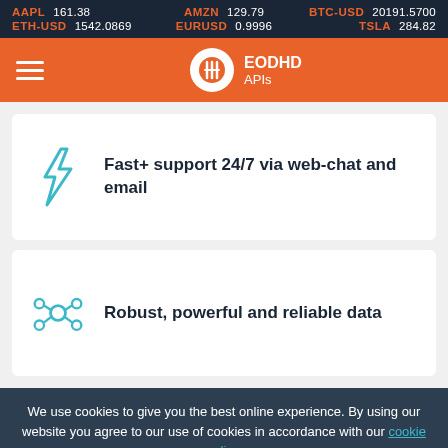AAPL 161.38   AMZN 129.79   BTC-USD 20191.5700   ETH-USD 1542.0869   EURUSD 0.9996   TSLA 284.82
[Figure (logo): EODHD APIs logo with orange navigation bar, hamburger menu icon on left, white circle logo with fork/knife icon and EODHD APIs text]
Fast+ support 24/7 via web-chat and email
Robust, powerful and reliable data
We use cookies to give you the best online experience. By using our website you agree to our use of cookies in accordance with our cookie policy.
OK